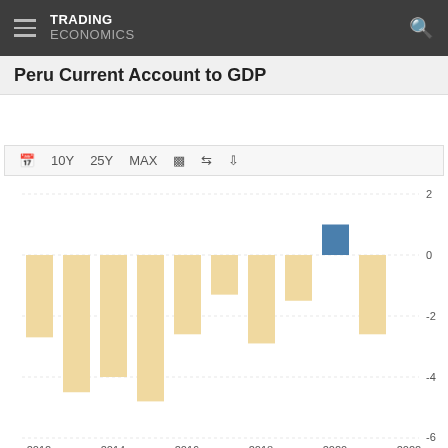TRADING ECONOMICS
Peru Current Account to GDP
[Figure (bar-chart): Peru Current Account to GDP]